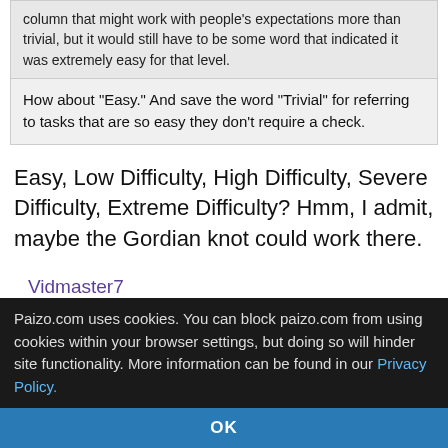column that might work with people's expectations more than trivial, but it would still have to be some word that indicated it was extremely easy for that level.
How about "Easy." And save the word "Trivial" for referring to tasks that are so easy they don't require a check.
Easy, Low Difficulty, High Difficulty, Severe Difficulty, Extreme Difficulty? Hmm, I admit, maybe the Gordian knot could work there.
Vidmaster7
Jul 20, 2018, 10:12 pm
[Figure (illustration): Avatar image of a bearded old wizard-like figure with long grey hair and beard]
Gordian knot is not so hard just give me a sword.
Lets see hmm
fish in a barrel
Paizo.com uses cookies. You can block paizo.com from using cookies within your browser settings, but doing so will hinder site functionality. More information can be found in our Privacy Policy.
OK